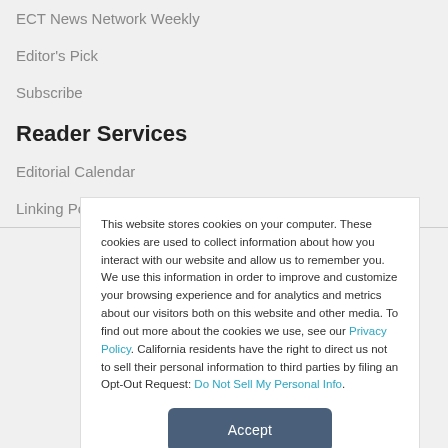ECT News Network Weekly
Editor's Pick
Subscribe
Reader Services
Editorial Calendar
Linking Policy
This website stores cookies on your computer. These cookies are used to collect information about how you interact with our website and allow us to remember you. We use this information in order to improve and customize your browsing experience and for analytics and metrics about our visitors both on this website and other media. To find out more about the cookies we use, see our Privacy Policy. California residents have the right to direct us not to sell their personal information to third parties by filing an Opt-Out Request: Do Not Sell My Personal Info.
Accept